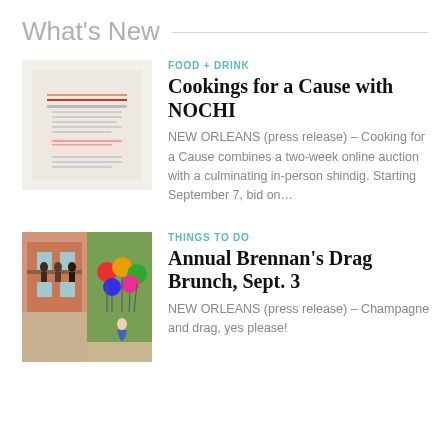What's New
[Figure (photo): An event flyer image for Cookings for a Cause with NOCHI, with text on a light background]
FOOD + DRINK
Cookings for a Cause with NOCHI
NEW ORLEANS (press release) – Cooking for a Cause combines a two-week online auction with a culminating in-person shindig. Starting September 7, bid on…
[Figure (photo): Two photos side by side: people on a balcony and colorful balloons at an outdoor event]
THINGS TO DO
Annual Brennan's Drag Brunch, Sept. 3
NEW ORLEANS (press release) – Champagne and drag, yes please!